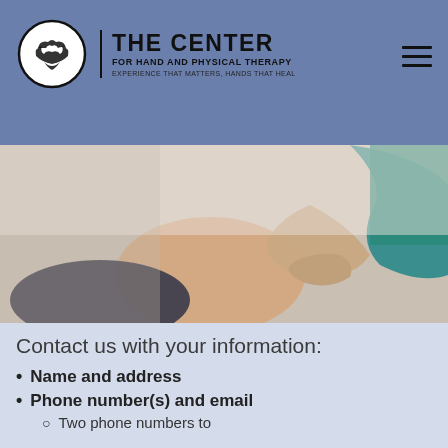[Figure (logo): The Center for Hand and Physical Therapy logo with circular emblem showing hands and text]
[Figure (photo): Physical therapist treating a patient's knee, therapist wearing teal shirt, patient in dark shorts lying on table]
Contact us with your information:
Name and address
Phone number(s) and email
Two phone numbers to